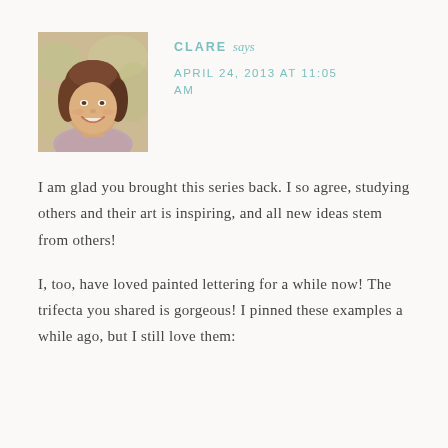[Figure (photo): Profile photo of a smiling woman with brown hair against a blurred floral/outdoor background]
CLARE says
APRIL 24, 2013 AT 11:05 AM
I am glad you brought this series back. I so agree, studying others and their art is inspiring, and all new ideas stem from others!
I, too, have loved painted lettering for a while now! The trifecta you shared is gorgeous! I pinned these examples a while ago, but I still love them: